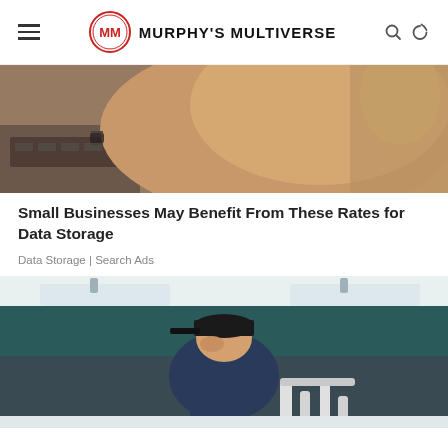Murphy's Multiverse
[Figure (photo): Person in a tan/beige jacket working at a keyboard, partial view from behind/side]
Small Businesses May Benefit From These Rates for Data Storage
Data Storage | Search Ads
[Figure (photo): Plumber in a black cap crouching under a sink with visible pipes]